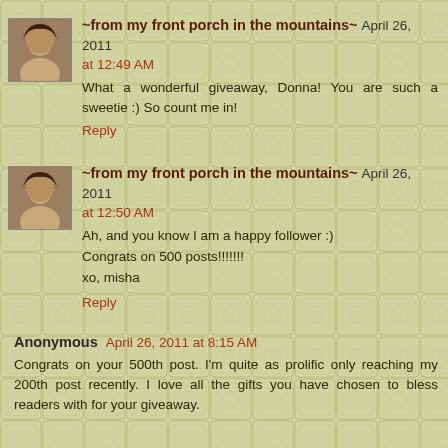~from my front porch in the mountains~ April 26, 2011 at 12:49 AM
What a wonderful giveaway, Donna! You are such a sweetie :) So count me in!
Reply
~from my front porch in the mountains~ April 26, 2011 at 12:50 AM
Ah, and you know I am a happy follower :)
Congrats on 500 posts!!!!!!!
xo, misha
Reply
Anonymous April 26, 2011 at 8:15 AM
Congrats on your 500th post. I'm quite as prolific only reaching my 200th post recently. I love all the gifts you have chosen to bless readers with for your giveaway.